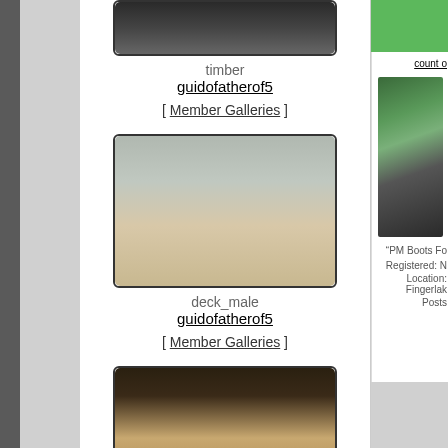[Figure (photo): Thumbnail photo of a snake (timber), partial view at top]
timber
guidofatherof5
[ Member Galleries ]
[Figure (photo): Photo of a hand holding a garter snake (deck_male)]
deck_male
guidofatherof5
[ Member Galleries ]
[Figure (photo): Photo of baby snakes on sandy/gravelly surface (09babies)]
09babies
guidofatherof5
[ Member Galleries ]
count o
"PM Boots Fo
Registered: N
Location: Fingerlak
Posts